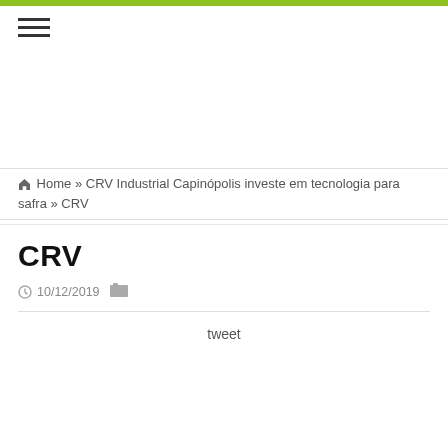🏠 Home » CRV Industrial Capinópolis investe em tecnologia para safra » CRV
CRV
10/12/2019
tweet